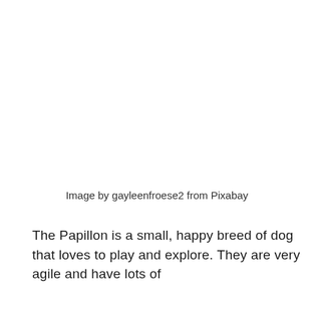[Figure (photo): Photograph of a Papillon dog (image area, white/blank in this rendering)]
Image by gayleenfroese2 from Pixabay
The Papillon is a small, happy breed of dog that loves to play and explore. They are very agile and have lots of